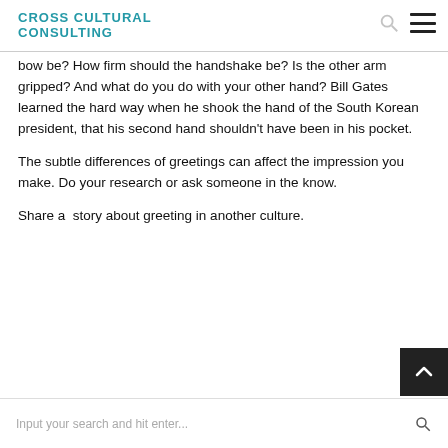CROSS CULTURAL CONSULTING
bow be? How firm should the handshake be? Is the other arm gripped? And what do you do with your other hand? Bill Gates learned the hard way when he shook the hand of the South Korean president, that his second hand shouldn't have been in his pocket.
The subtle differences of greetings can affect the impression you make. Do your research or ask someone in the know.
Share a  story about greeting in another culture.
Input your search and hit enter...